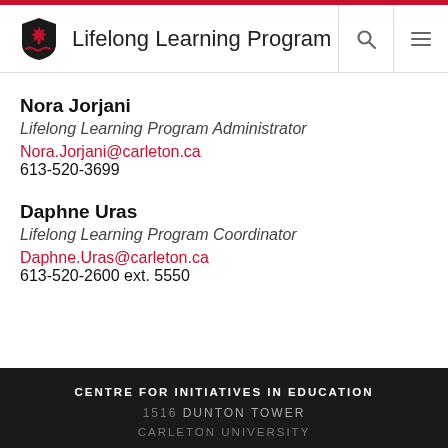Lifelong Learning Program
Nora Jorjani
Lifelong Learning Program Administrator
Nora.Jorjani@carleton.ca
613-520-3699
Daphne Uras
Lifelong Learning Program Coordinator
Daphne.Uras@carleton.ca
613-520-2600 ext. 5550
CENTRE FOR INITIATIVES IN EDUCATION
1516 DUNTON TOWER
CARLETON UNIVERSITY